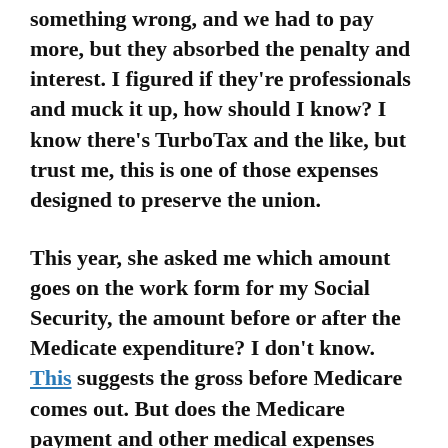something wrong, and we had to pay more, but they absorbed the penalty and interest. I figured if they're professionals and muck it up, how should I know? I know there's TurboTax and the like, but trust me, this is one of those expenses designed to preserve the union.
This year, she asked me which amount goes on the work form for my Social Security, the amount before or after the Medicate expenditure? I don't know. This suggests the gross before Medicare comes out. But does the Medicare payment and other medical expenses reach the 7.5% threshold for deductibility? (I fell asleep while typing the previous sentence.)